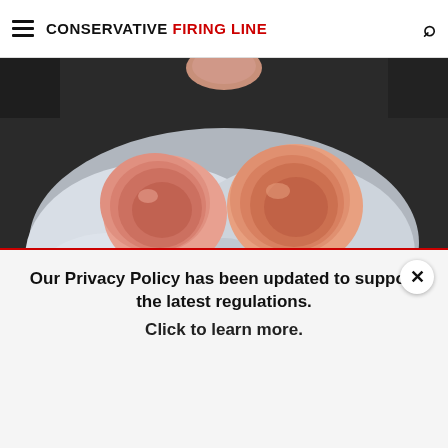CONSERVATIVE FIRING LINE
[Figure (photo): Close-up photo of two fried eggs cooking in a pan, whites bubbling around orange-pink yolks]
Anyone with Diabetes Should Watch This (What They Don't
Our Privacy Policy has been updated to support the latest regulations. Click to learn more.